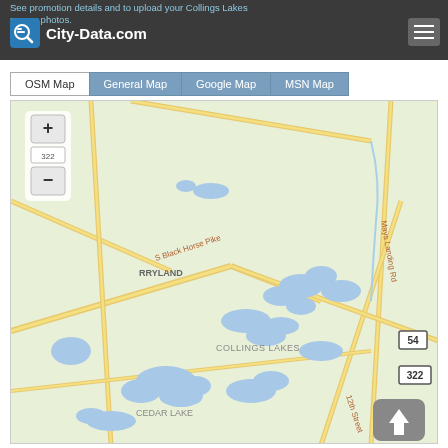See promotion details and to upload your Collings Lakes survey photos.
[Figure (map): OSM map showing Collings Lakes area in New Jersey. Features roads including S Black Horse Pike, Mays Landing Rd, 12th Street. Shows water bodies including Collings Lakes and Cedar Lake. Route markers 54 and 322 visible. Area labels include RRYLAND, COLLINGS LAKES, and CEDAR LAKE. Map has zoom controls (+/-) and a navigation up arrow button.]
OSM Map | General Map | Google Map | MSN Map